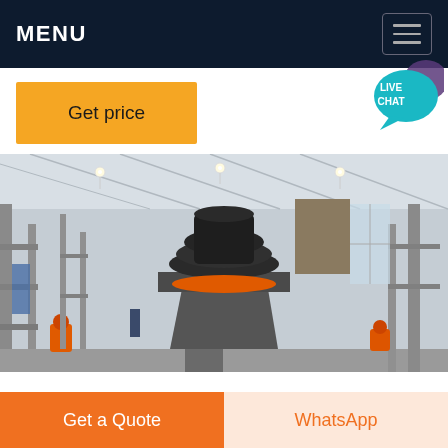MENU
Get price
[Figure (illustration): Live Chat speech bubble icon in teal/purple colors]
[Figure (photo): Industrial machinery - large cone crusher or mill inside a factory/warehouse with metal scaffolding, bright industrial lighting, and orange machinery components at ground level]
Get a Quote
WhatsApp